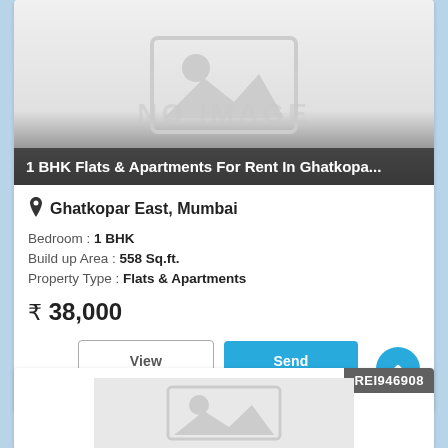[Figure (screenshot): Property listing card showing no-image placeholder with dark gradient overlay]
1 BHK Flats & Apartments For Rent In Ghatkopa...
Ghatkopar East, Mumbai
Bedroom : 1 BHK
Build up Area : 558 Sq.ft.
Property Type : Flats & Apartments
₹ 38,000
REI946908